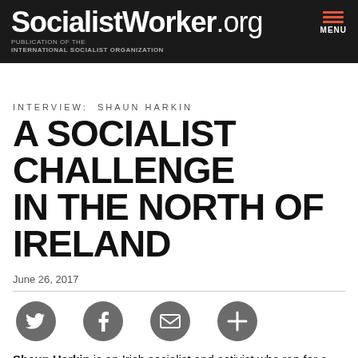SocialistWorker.org — PUBLICATION OF THE INTERNATIONAL SOCIALIST ORGANIZATION
INTERVIEW: SHAUN HARKIN
A SOCIALIST CHALLENGE IN THE NORTH OF IRELAND
June 26, 2017
[Figure (other): Social media sharing icons: Twitter, Facebook, Email, Add/Plus button]
Shaun Harkin is an Irish socialist and activist who ran for a seat in the UK parliament representing Derry in the North of Ireland. He ran as a candidate of the People Before Profit Alliance, a left-wing coalition that has run in elections in both the North and South of Ireland since it was founded...